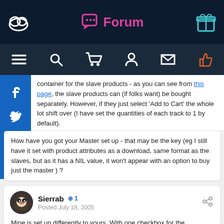Forum
container for the slave products - as you can see from this page, the slave products can (if folks want) be bought separately. However, if they just select 'Add to Cart' the whole lot shift over (I have set the quantities of each track to 1 by default).
How have you got your Master set up - that may be the key (eg I still have it set with product attributes as a download, same format as the slaves, but as it has a NIL value, it won't appear with an option to buy just the master ) ?
Sierrab  +1
Posted July 18, 2005
Mine is set up differently to yours. With one checkbox for the